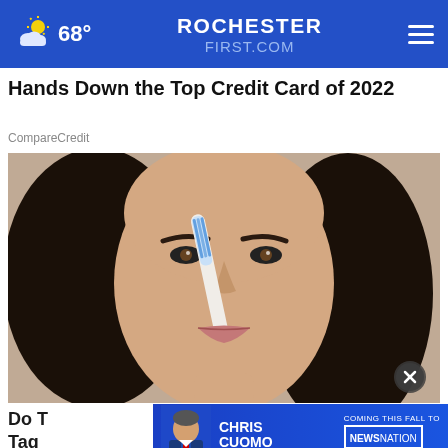68° ROCHESTERFIRST.COM
Hands Down the Top Credit Card of 2022
CompareCredit
[Figure (photo): Close-up photo of a dark-haired woman using a toothbrush on her nose, beauty/skincare context]
Do T... Tag...
[Figure (infographic): Ad banner: Chris Cuomo - Coming This Fall to NewsNation - Find Your Channel, with photo of man in suit]